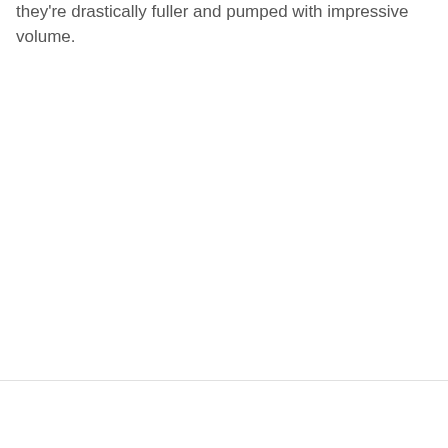they're drastically fuller and pumped with impressive volume.